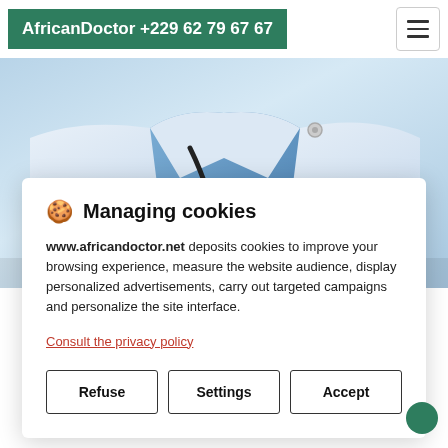AfricanDoctor +229 62 79 67 67
[Figure (photo): Close-up photo of a doctor in a white coat with a stethoscope around their neck, blue shirt visible underneath]
🍪 Managing cookies
www.africandoctor.net deposits cookies to improve your browsing experience, measure the website audience, display personalized advertisements, carry out targeted campaigns and personalize the site interface.
Consult the privacy policy
Refuse
Settings
Accept